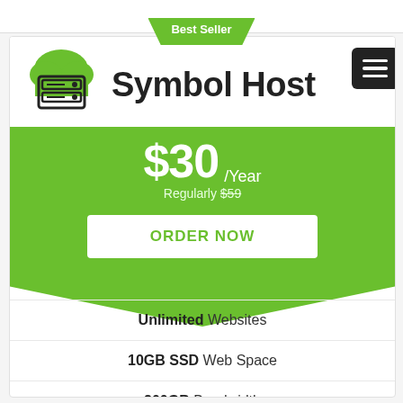[Figure (logo): Symbol Host logo with green cloud and server rack icon, company name 'Symbol Host' in dark text]
Best Seller
$30 /Year
Regularly $59
ORDER NOW
Unlimited Websites
10GB SSD Web Space
200GB Bandwidth